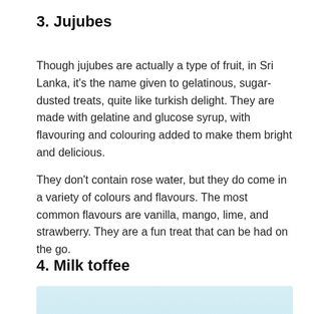3. Jujubes
Though jujubes are actually a type of fruit, in Sri Lanka, it's the name given to gelatinous, sugar-dusted treats, quite like turkish delight. They are made with gelatine and glucose syrup, with flavouring and colouring added to make them bright and delicious.
They don't contain rose water, but they do come in a variety of colours and flavours. The most common flavours are vanilla, mango, lime, and strawberry. They are a fun treat that can be had on the go.
4. Milk toffee
[Figure (photo): Photo of two golden-brown milk toffee cubes on a light blue background]